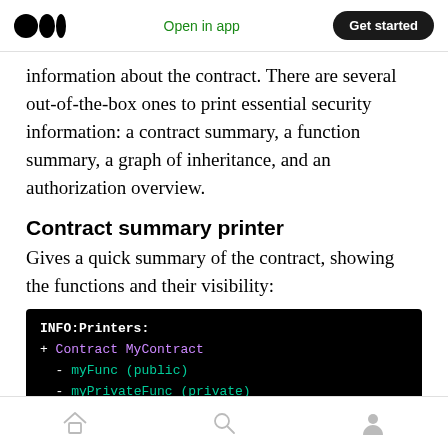Open in app | Get started
information about the contract. There are several out-of-the-box ones to print essential security information: a contract summary, a function summary, a graph of inheritance, and an authorization overview.
Contract summary printer
Gives a quick summary of the contract, showing the functions and their visibility:
[Figure (screenshot): Terminal/code output showing: INFO:Printers: + Contract MyContract - myFunc (public) - myPrivateFunc (private)]
Home | Search | Profile